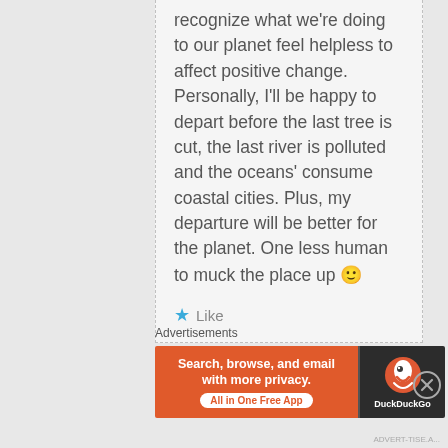recognize what we're doing to our planet feel helpless to affect positive change. Personally, I'll be happy to depart before the last tree is cut, the last river is polluted and the oceans' consume coastal cities. Plus, my departure will be better for the planet. One less human to muck the place up 🙂
⭐ Like
Advertisements
[Figure (infographic): DuckDuckGo advertisement banner: orange left panel with text 'Search, browse, and email with more privacy. All in One Free App' and dark right panel with DuckDuckGo logo and name.]